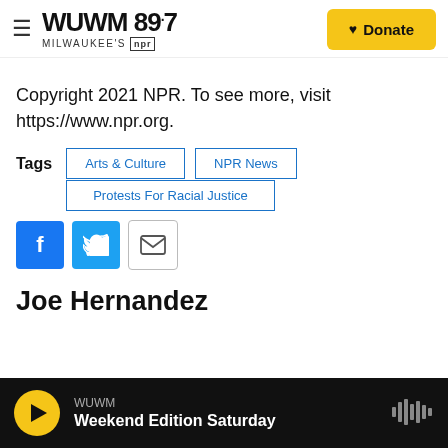WUWM 89.7 Milwaukee's NPR — Donate
Copyright 2021 NPR. To see more, visit https://www.npr.org.
Tags: Arts & Culture | NPR News | Protests For Racial Justice
[Figure (infographic): Social sharing buttons: Facebook, Twitter, Email]
Joe Hernandez
WUWM — Weekend Edition Saturday (audio player bar)